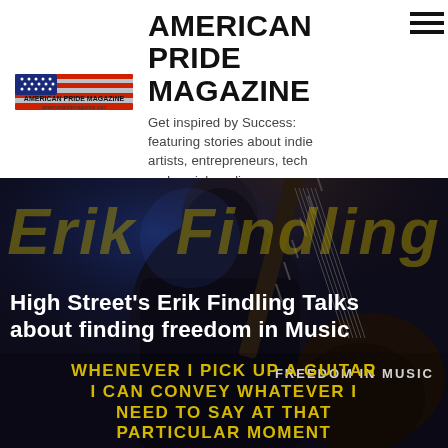AMERICAN PRIDE MAGAZINE
[Figure (logo): American Pride Magazine logo with flag imagery]
Get inspired by Success: featuring stories about indie artists, entrepreneurs, tech and social media.
[Figure (photo): Dark photo of guitarist Erik Findling performing on stage with guitar, blue stage lighting, with large italic yellow/gold text 'Erik Findling' overlaid as background watermark]
High Street's Erik Findling Talks about finding freedom in Music
FREEDOM IN MUSIC
WHENEVER I PICK UP A GUITAR I CAN CONVEY WHATEVER I NEED TO SAY AT THAT PARTICULAR MOMENT